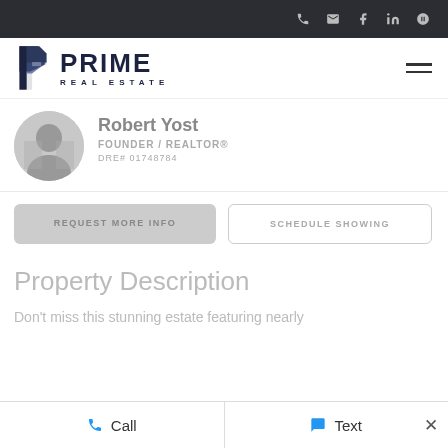Prime Real Estate – navigation bar with phone, email, Facebook, LinkedIn, Yelp icons
[Figure (logo): Prime Real Estate logo with geometric P icon and PRIME REAL ESTATE wordmark]
Robert Yost
FOUNDER / REALTOR®
DRE# 01748784
REQUEST MORE INFO
SCHEDULE SHOWING
Property Description
Don't miss this stunning estate featuring nearly
Call   Text